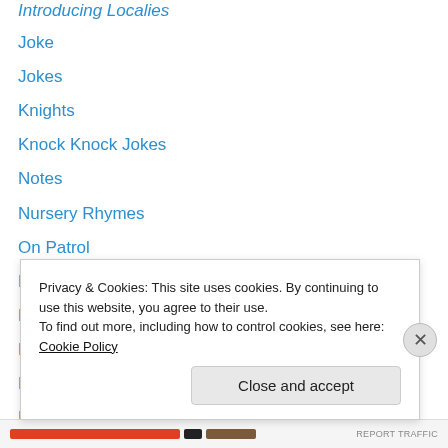Introducing Localies
Joke
Jokes
Knights
Knock Knock Jokes
Notes
Nursery Rhymes
On Patrol
Problem With Purrballs
Puns
Reprise
Reprise
Republished
Riddles
Privacy & Cookies: This site uses cookies. By continuing to use this website, you agree to their use.
To find out more, including how to control cookies, see here: Cookie Policy
Close and accept